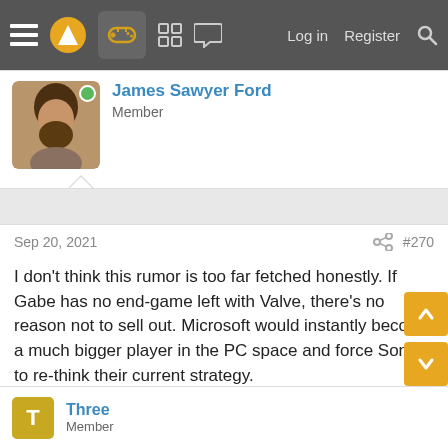≡  [logo]  [controller icon]  [grid icon]  [chat icon]    Log in   Register   [search]
James Sawyer Ford
Member
Sep 20, 2021  #270
I don't think this rumor is too far fetched honestly. If Gabe has no end-game left with Valve, there's no reason not to sell out. Microsoft would instantly become a much bigger player in the PC space and force Sony to re-think their current strategy.

I would imagine that Sony would simply align with Epic for their first party releases.
Bryank75
Three
Member